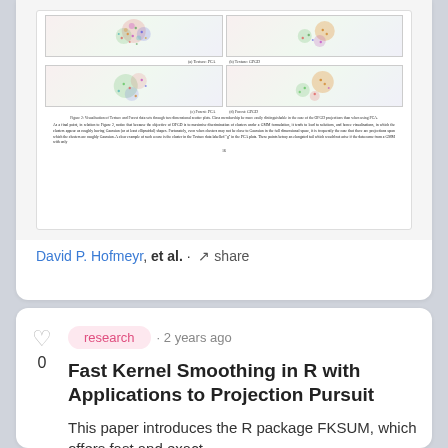[Figure (screenshot): Cropped view of a scientific paper page showing scatter plot figures (Texture PCA, Texture GPGD, Forest PCA, Forest GPGD) and body text]
David P. Hofmeyr, et al. · share
research · 2 years ago
Fast Kernel Smoothing in R with Applications to Projection Pursuit
This paper introduces the R package FKSUM, which offers fast and exact